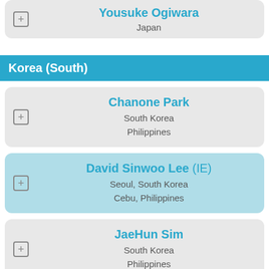Yousuke Ogiwara
Japan
Korea (South)
Chanone Park
South Korea
Philippines
David Sinwoo Lee (IE)
Seoul, South Korea
Cebu, Philippines
JaeHun Sim
South Korea
Philippines
Jeong Jae Kim
South Korea